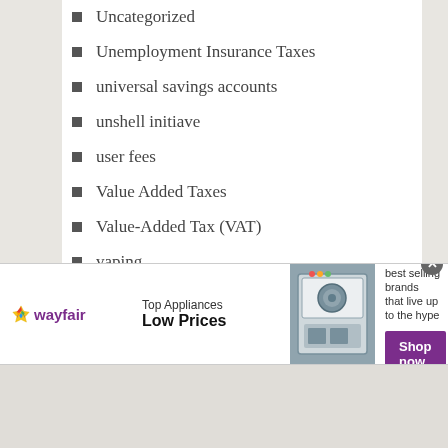Uncategorized
Unemployment Insurance Taxes
universal savings accounts
unshell initiave
user fees
Value Added Taxes
Value-Added Tax (VAT)
vaping
vapor taxes
VAT
Vehicle Miles Traveled (VMT) Tax
video
wealth tax
[Figure (other): Wayfair advertisement banner: Top Appliances Low Prices, Save on best selling brands that live up to the hype, Shop now button]